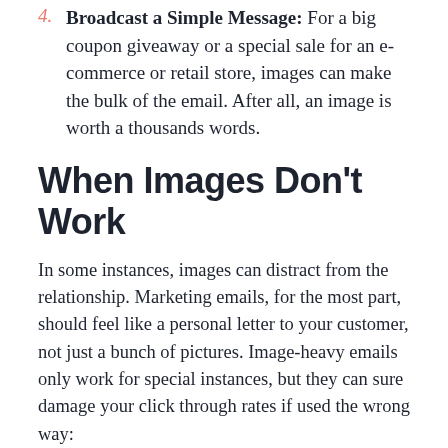4. Broadcast a Simple Message: For a big coupon giveaway or a special sale for an e-commerce or retail store, images can make the bulk of the email. After all, an image is worth a thousands words.
When Images Don't Work
In some instances, images can distract from the relationship. Marketing emails, for the most part, should feel like a personal letter to your customer, not just a bunch of pictures. Image-heavy emails only work for special instances, but they can sure damage your click through rates if used the wrong way:
1. Do they overwhelm the reader? Too many bright lights and loud noises can be overwhelming, just